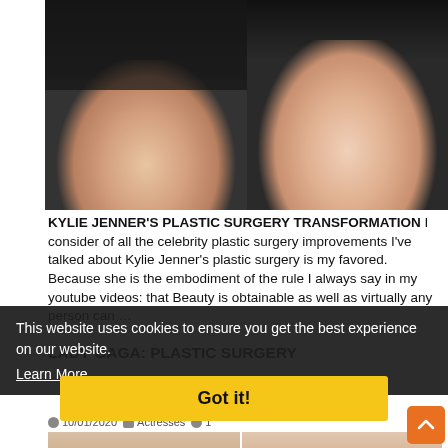[Figure (photo): Side-by-side before and after photos of Kylie Jenner with dark hair]
KYLIE JENNER'S PLASTIC SURGERY TRANSFORMATION I consider of all the celebrity plastic surgery improvements I've talked about Kylie Jenner's plastic surgery is my favored. Because she is the embodiment of the rule I always say in my youtube videos: that Beauty is obtainable as well as virtually any person can …
This website uses cookies to ensure you get the best experience on our website.
Learn More
Got it!
LADY GAGA: PLASTIC SURGERY
10/01/2020  Actresses  1
[Figure (photo): Side-by-side photos of Lady Gaga]